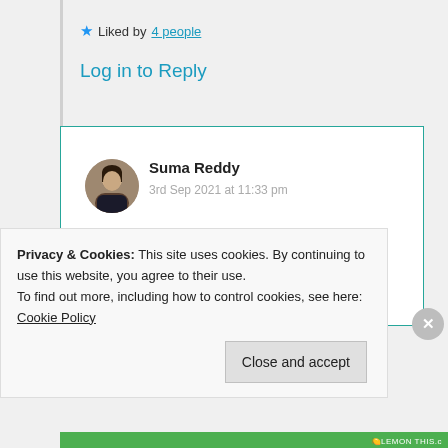😊❤️😊
★ Liked by 4 people
Log in to Reply
Suma Reddy
3rd Sep 2021 at 11:33 pm
Thank you 🥰❤️
Privacy & Cookies: This site uses cookies. By continuing to use this website, you agree to their use.
To find out more, including how to control cookies, see here: Cookie Policy
Close and accept